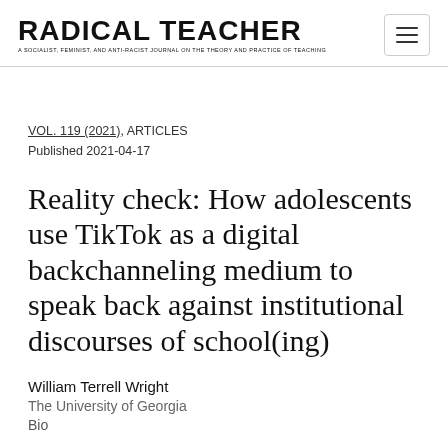RADICAL TEACHER — A SOCIALIST, FEMINIST, AND ANTI-RACIST JOURNAL ON THE THEORY AND PRACTICE OF TEACHING
VOL. 119 (2021), ARTICLES
Published 2021-04-17
Reality check: How adolescents use TikTok as a digital backchanneling medium to speak back against institutional discourses of school(ing)
William Terrell Wright
The University of Georgia
Bio